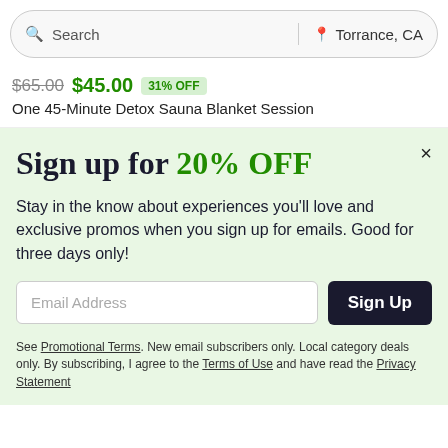Search | Torrance, CA
$65.00 $45.00 31% OFF
One 45-Minute Detox Sauna Blanket Session
Sign up for 20% OFF
Stay in the know about experiences you'll love and exclusive promos when you sign up for emails. Good for three days only!
Email Address [Sign Up button]
See Promotional Terms. New email subscribers only. Local category deals only. By subscribing, I agree to the Terms of Use and have read the Privacy Statement